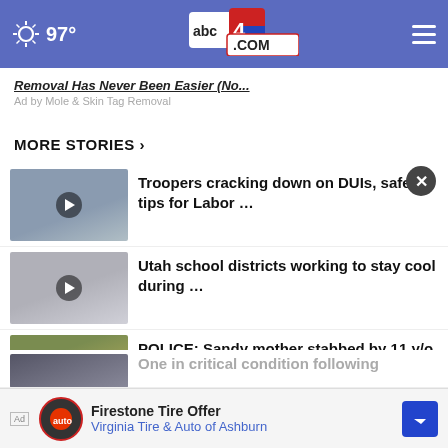97° abc4.COM
Removal Has Never Been Easier (No...
Ad by Mole & Skin Tag Removal
MORE STORIES ›
Troopers cracking down on DUIs, safety tips for Labor …
Utah school districts working to stay cool during …
POLICE: Sandy mother stabbed by 11 y/o child during …
NOW: Sandy Police investigat…
One in critical condition following
Firestone Tire Offer
Virginia Tire & Auto of Ashburn